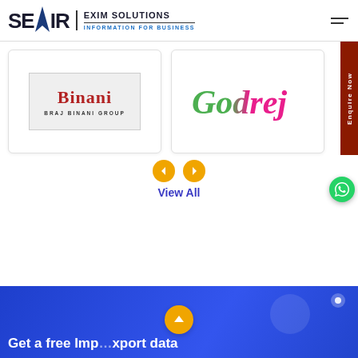SEAIR EXIM SOLUTIONS — INFORMATION FOR BUSINESS
[Figure (logo): Binani — Braj Binani Group logo on white card]
[Figure (logo): Godrej logo (colorful script) on white card]
[Figure (other): Left and right orange circular navigation arrow buttons]
View All
[Figure (other): Dark red vertical Enquire Now sidebar button]
[Figure (other): WhatsApp green circular icon button]
Get a free Imp... xport data
[Figure (other): Yellow up-arrow circular button]
[Figure (other): Chat bubble icon on blue background]